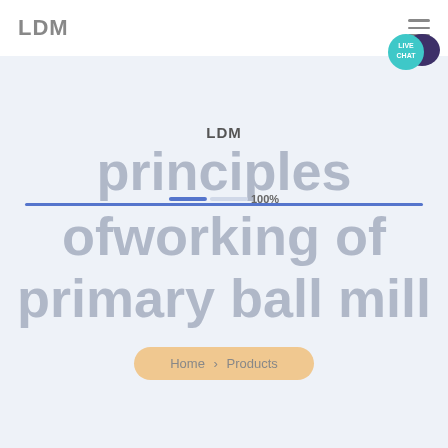LDM
[Figure (infographic): Live chat bubble icon with teal circle and dark navy speech bubble, labeled LIVE CHAT]
principles ofworking of primary ball mill
LDM
100%
Home > Products